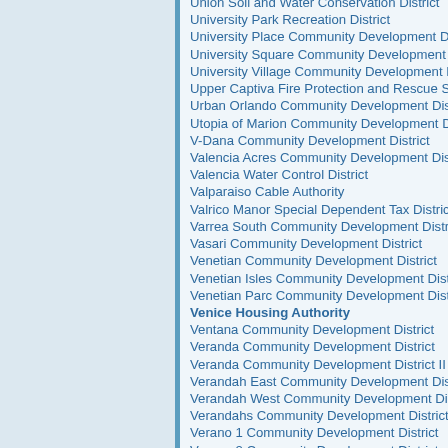Union Soil and Water Conservation District
University Park Recreation District
University Place Community Development District
University Square Community Development District
University Village Community Development District
Upper Captiva Fire Protection and Rescue Service District
Urban Orlando Community Development District
Utopia of Marion Community Development District
V-Dana Community Development District
Valencia Acres Community Development District
Valencia Water Control District
Valparaiso Cable Authority
Valrico Manor Special Dependent Tax District
Varrea South Community Development District
Vasari Community Development District
Venetian Community Development District
Venetian Isles Community Development District
Venetian Parc Community Development District
Venice Housing Authority
Ventana Community Development District
Veranda Community Development District
Veranda Community Development District II
Verandah East Community Development District
Verandah West Community Development District
Verandahs Community Development District, The
Verano 1 Community Development District
Verano 2 Community Development District